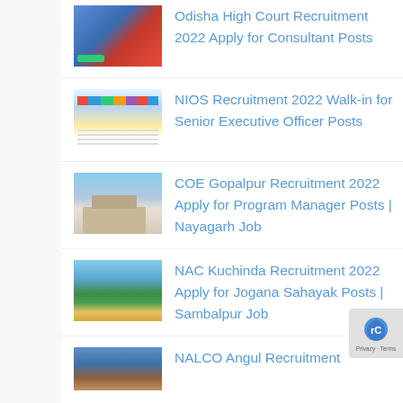Odisha High Court Recruitment 2022 Apply for Consultant Posts
NIOS Recruitment 2022 Walk-in for Senior Executive Officer Posts
COE Gopalpur Recruitment 2022 Apply for Program Manager Posts | Nayagarh Job
NAC Kuchinda Recruitment 2022 Apply for Jogana Sahayak Posts | Sambalpur Job
NALCO Angul Recruitment